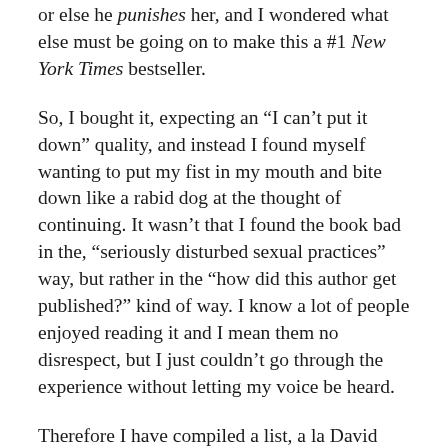or else he punishes her, and I wondered what else must be going on to make this a #1 New York Times bestseller.
So, I bought it, expecting an “I can’t put it down” quality, and instead I found myself wanting to put my fist in my mouth and bite down like a rabid dog at the thought of continuing. It wasn’t that I found the book bad in the, “seriously disturbed sexual practices” way, but rather in the “how did this author get published?” kind of way. I know a lot of people enjoyed reading it and I mean them no disrespect, but I just couldn’t go through the experience without letting my voice be heard.
Therefore I have compiled a list, a la David Letterman:
...